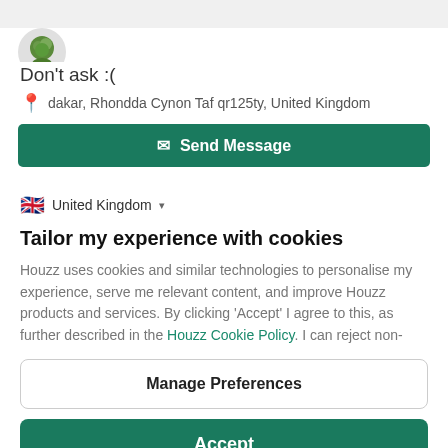[Figure (photo): Small circular avatar with green plant/tree image, partially cropped at top]
Don't ask :(
📍 dakar, Rhondda Cynon Taf qr125ty, United Kingdom
✉ Send Message
🇬🇧 United Kingdom ▾
Tailor my experience with cookies
Houzz uses cookies and similar technologies to personalise my experience, serve me relevant content, and improve Houzz products and services. By clicking 'Accept' I agree to this, as further described in the Houzz Cookie Policy. I can reject non-
Manage Preferences
Accept